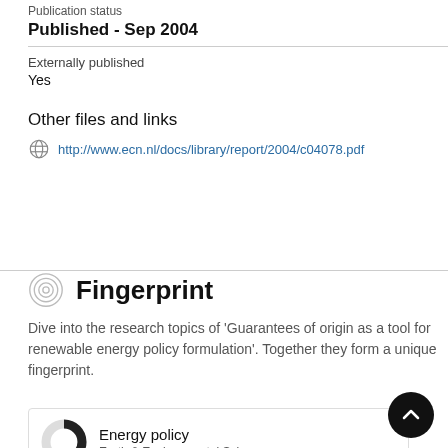Publication status
Published - Sep 2004
Externally published
Yes
Other files and links
http://www.ecn.nl/docs/library/report/2004/c04078.pdf
Fingerprint
Dive into the research topics of 'Guarantees of origin as a tool for renewable energy policy formulation'. Together they form a unique fingerprint.
Energy policy
Earth & Environmental Sciences